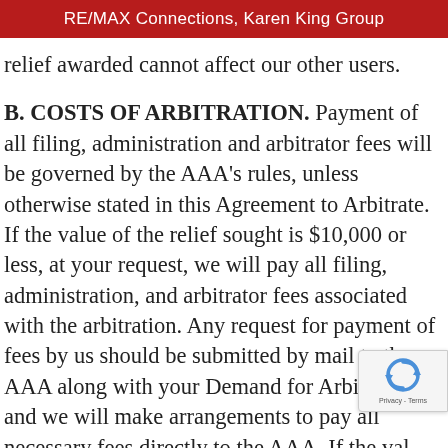RE/MAX Connections, Karen King Group
relief awarded cannot affect our other users.
B. COSTS OF ARBITRATION. Payment of all filing, administration and arbitrator fees will be governed by the AAA’s rules, unless otherwise stated in this Agreement to Arbitrate. If the value of the relief sought is $10,000 or less, at your request, we will pay all filing, administration, and arbitrator fees associated with the arbitration. Any request for payment of fees by us should be submitted by mail to the AAA along with your Demand for Arbitration and we will make arrangements to pay all necessary fees directly to the AAA. If the value of the relief sought is more than $10,000 and you are able to demonstrate that the costs of arbitration